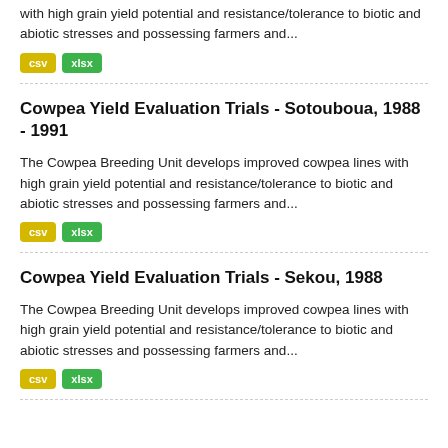The Cowpea Breeding Unit develops improved cowpea lines with high grain yield potential and resistance/tolerance to biotic and abiotic stresses and possessing farmers and...
csv  xlsx
Cowpea Yield Evaluation Trials - Sotouboua, 1988 - 1991
The Cowpea Breeding Unit develops improved cowpea lines with high grain yield potential and resistance/tolerance to biotic and abiotic stresses and possessing farmers and...
csv  xlsx
Cowpea Yield Evaluation Trials - Sekou, 1988
The Cowpea Breeding Unit develops improved cowpea lines with high grain yield potential and resistance/tolerance to biotic and abiotic stresses and possessing farmers and...
csv  xlsx